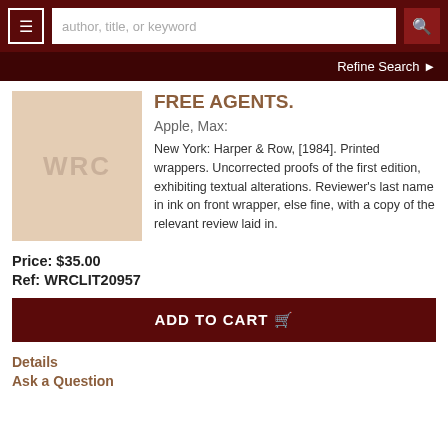author, title, or keyword — search bar with hamburger menu and Refine Search
FREE AGENTS.
Apple, Max:
New York: Harper & Row, [1984]. Printed wrappers. Uncorrected proofs of the first edition, exhibiting textual alterations. Reviewer's last name in ink on front wrapper, else fine, with a copy of the relevant review laid in.
Price: $35.00
Ref: WRCLIT20957
ADD TO CART
Details
Ask a Question